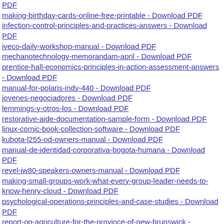PDF
making-birthday-cards-online-free-printable - Download PDF
infection-control-principles-and-practices-answers - Download PDF
iveco-daily-workshop-manual - Download PDF
mechanotechnology-memorandam-april - Download PDF
prentice-hall-economics-principles-in-action-assessment-answers - Download PDF
manual-for-polaris-indy-440 - Download PDF
jovenes-negociadores - Download PDF
lemmings-y-otros-los - Download PDF
restorative-aide-documentation-sample-form - Download PDF
linux-comic-book-collection-software - Download PDF
kubota-l255-od-owners-manual - Download PDF
manual-de-identidad-corporativa-bogota-humana - Download PDF
revel-iw80-speakers-owners-manual - Download PDF
making-small-groups-work-what-every-group-leader-needs-to-know-henry-cloud - Download PDF
psychological-operations-principles-and-case-studies - Download PDF
report-on-agriculture-for-the-province-of-new-brunswick - Download PDF
section-2-formal-amendment-answer-key - Download PDF
qca-sats-mark-schemes-ks1 - Download PDF
process-control-instrumentation-technology-8th-edition-free - Download PDF